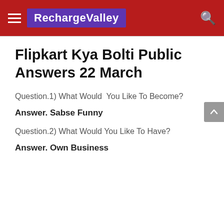RechargeValley
Flipkart Kya Bolti Public Answers 22 March
Question.1) What Would  You Like To Become?
Answer. Sabse Funny
Question.2) What Would You Like To Have?
Answer. Own Business